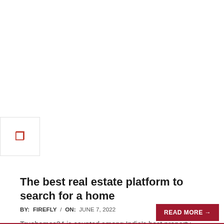[Figure (other): Small icon box with a red bookmark/tag icon, partially visible at the left edge of the page]
The best real estate platform to search for a home
BY: FIREFLY / ON: JUNE 7, 2022
Truehomes24 is counted among India's best property websites and a modest host for all those seeking to purchase top-notch housing and business residential or commercial properties. You can look for countless properties for sale and rent with in-depth information about each home, including photos. Besides assisting you to find your
READ MORE →